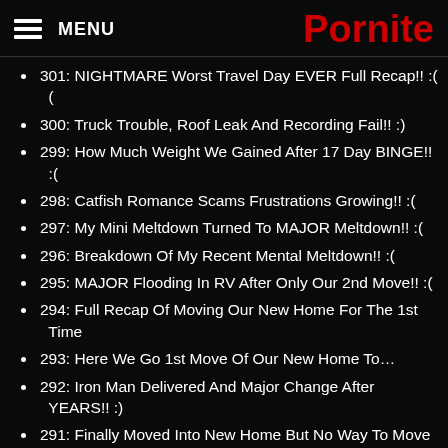MENU | Pornite
301: NIGHTMARE Worst Travel Day EVER Full Recap!! :(
300: Truck Trouble, Roof Leak And Recording Fail!! :)
299: How Much Weight We Gained After 17 Day BINGE!! :(
298: Catfish Romance Scams Frustrations Growing!! :(
297: My Mini Meltdown Turned To MAJOR Meltdown!! :(
296: Breakdown Of My Recent Mental Meltdown!! :(
295: MAJOR Flooding In RV After Only Our 2nd Move!! :(
294: Full Recap Of Moving Our New Home For The 1st Time
293: Here We Go 1st Move Of Our New Home To…
292: Iron Man Delivered And Major Change After YEARS!! :)
291: Finally Moved Into New Home But No Way To Move It!!
290: FREAKING The Fuck Out!! How's YOUR Day Going?? :)